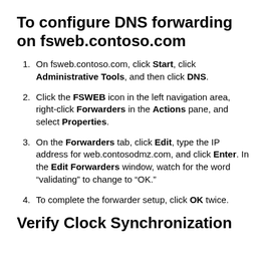To configure DNS forwarding on fsweb.contoso.com
On fsweb.contoso.com, click Start, click Administrative Tools, and then click DNS.
Click the FSWEB icon in the left navigation area, right-click Forwarders in the Actions pane, and select Properties.
On the Forwarders tab, click Edit, type the IP address for web.contosodmz.com, and click Enter. In the Edit Forwarders window, watch for the word “validating” to change to “OK.”
To complete the forwarder setup, click OK twice.
Verify Clock Synchronization